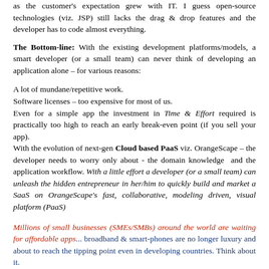as the customer's expectation grew with IT. I guess open-source technologies (viz. JSP) still lacks the drag & drop features and the developer has to code almost everything.
The Bottom-line: With the existing development platforms/models, a smart developer (or a small team) can never think of developing an application alone – for various reasons:
A lot of mundane/repetitive work.
Software licenses – too expensive for most of us.
Even for a simple app the investment in Time & Effort required is practically too high to reach an early break-even point (if you sell your app).
With the evolution of next-gen Cloud based PaaS viz. OrangeScape – the developer needs to worry only about - the domain knowledge and the application workflow. With a little effort a developer (or a small team) can unleash the hidden entrepreneur in her/him to quickly build and market a SaaS on OrangeScape's fast, collaborative, modeling driven, visual platform (PaaS)
Millions of small businesses (SMEs/SMBs) around the world are waiting for affordable apps... broadband & smart-phones are no longer luxury and about to reach the tipping point even in developing countries. Think about it.